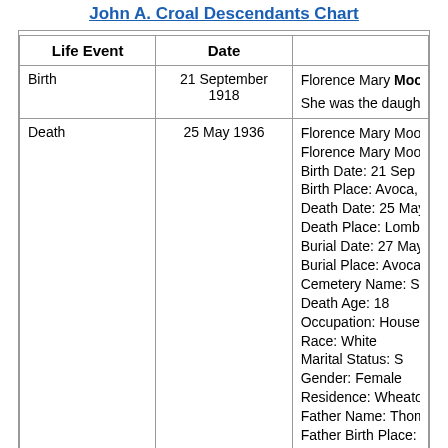John A. Croal Descendants Chart
| Life Event | Date |  |
| --- | --- | --- |
| Birth | 21 September 1918 | Florence Mary Moore w...
She was the daughter of... |
| Death | 25 May 1936 | Florence Mary Moore die...
Florence Mary Moore
Birth Date: 21 Sep 1918
Birth Place: Avoca, Wis...
Death Date: 25 May 193...
Death Place: Lombard, I...
Burial Date: 27 May 193...
Burial Place: Avoca, Iowa...
Cemetery Name: St. Jos...
Death Age: 18
Occupation: Housework-...
Race: White
Marital Status: S
Gender: Female
Residence: Wheaton, Du...
Father Name: Thomas M...
Father Birth Place: Avoc...
Mother Name: Cathrine... |